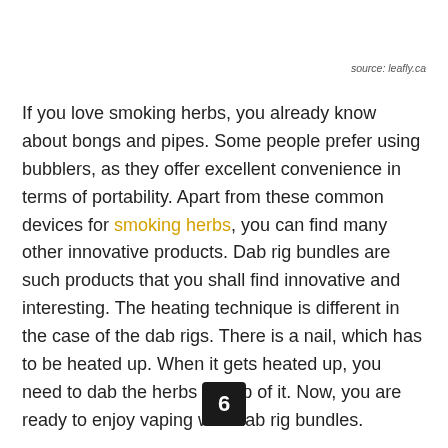source: leafly.ca
If you love smoking herbs, you already know about bongs and pipes. Some people prefer using bubblers, as they offer excellent convenience in terms of portability. Apart from these common devices for smoking herbs, you can find many other innovative products. Dab rig bundles are such products that you shall find innovative and interesting. The heating technique is different in the case of the dab rigs. There is a nail, which has to be heated up. When it gets heated up, you need to dab the herbs on top of it. Now, you are ready to enjoy vaping with dab rig bundles.
6